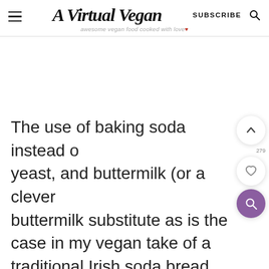A Virtual Vegan — awesome vegan food cooked with love
The use of baking soda instead of yeast, and buttermilk (or a clever buttermilk substitute as is the case in my vegan take of a traditional Irish soda bread recipe) is what gives soda bread its